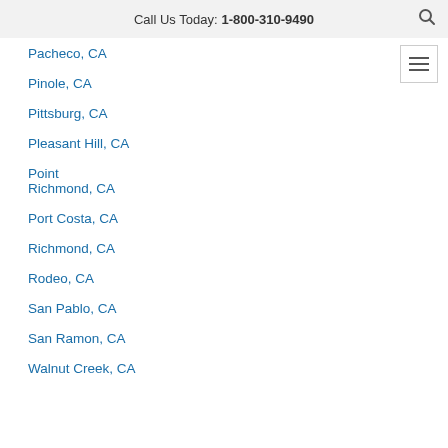Call Us Today: 1-800-310-9490
Pacheco, CA
Pinole, CA
Pittsburg, CA
Pleasant Hill, CA
Point Richmond, CA
Port Costa, CA
Richmond, CA
Rodeo, CA
San Pablo, CA
San Ramon, CA
Walnut Creek, CA